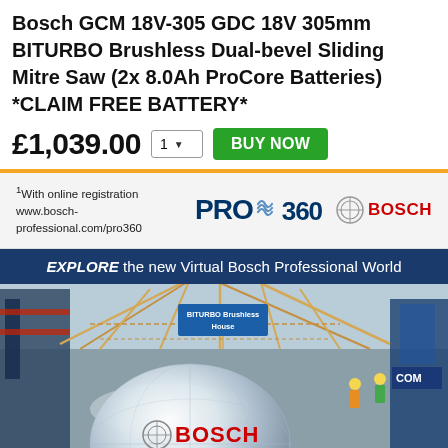Bosch GCM 18V-305 GDC 18V 305mm BITURBO Brushless Dual-bevel Sliding Mitre Saw (2x 8.0Ah ProCore Batteries) *CLAIM FREE BATTERY*
£1,039.00  1 ▼  BUY NOW
¹With online registration www.bosch-professional.com/pro360  PRO 360  BOSCH
[Figure (photo): Virtual Bosch Professional World promotional image showing a large construction/exhibition hall with wooden frame structure, workers in hi-vis, and a large Bosch branded globe/sphere in the foreground. Text overlay: EXPLORE the new Virtual Bosch Professional World. BITURBO Brushless House sign visible. BOSCH logo on sphere.]